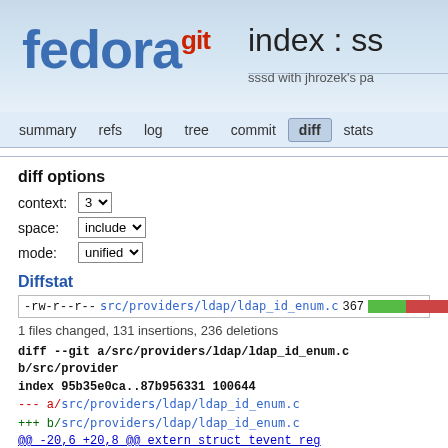fedora git  index : ss  sssd with jhrozek's pa
summary  refs  log  tree  commit  diff  stats
diff options
context: 3
space: include
mode: unified
Diffstat
-rw-r--r-- src/providers/ldap/ldap_id_enum.c 367
1 files changed, 131 insertions, 236 deletions
diff --git a/src/providers/ldap/ldap_id_enum.c b/src/providers/
index 95b35e0ca..87b956331 100644
--- a/src/providers/ldap/ldap_id_enum.c
+++ b/src/providers/ldap/ldap_id_enum.c
@@ -20,6 +20,8 @@ extern_struct_tevent_reg *ldap_id_cleanup_...